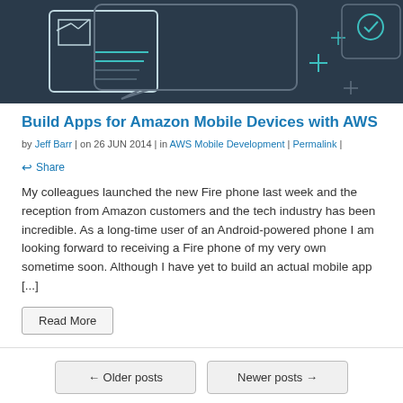[Figure (illustration): Dark navy blue banner image with white line-art illustrations of a document/chart window and speech bubbles with plus signs and crosshairs, representing mobile/cloud app development]
Build Apps for Amazon Mobile Devices with AWS
by Jeff Barr | on 26 JUN 2014 | in AWS Mobile Development | Permalink | ↩ Share
My colleagues launched the new Fire phone last week and the reception from Amazon customers and the tech industry has been incredible. As a long-time user of an Android-powered phone I am looking forward to receiving a Fire phone of my very own sometime soon. Although I have yet to build an actual mobile app [...]
Read More
← Older posts
Newer posts →